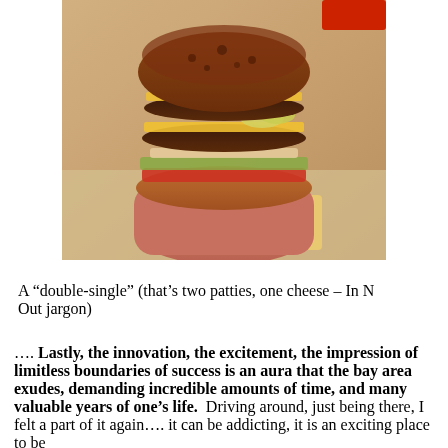[Figure (photo): A close-up photo of a hand holding a large burger ('double-single') with two patties, one cheese, visible layers of meat, cheese, tomato, onion, and bun, with fries visible in the background.]
A “double-single” (that’s two patties, one cheese – In N Out jargon)
.... Lastly, the innovation, the excitement, the impression of limitless boundaries of success is an aura that the bay area exudes, demanding incredible amounts of time, and many valuable years of one’s life.  Driving around, just being there, I felt a part of it again.... it can be addicting, it is an exciting place to be